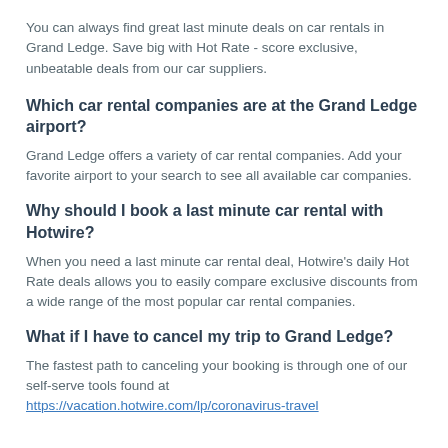You can always find great last minute deals on car rentals in Grand Ledge. Save big with Hot Rate - score exclusive, unbeatable deals from our car suppliers.
Which car rental companies are at the Grand Ledge airport?
Grand Ledge offers a variety of car rental companies. Add your favorite airport to your search to see all available car companies.
Why should I book a last minute car rental with Hotwire?
When you need a last minute car rental deal, Hotwire's daily Hot Rate deals allows you to easily compare exclusive discounts from a wide range of the most popular car rental companies.
What if I have to cancel my trip to Grand Ledge?
The fastest path to canceling your booking is through one of our self-serve tools found at https://vacation.hotwire.com/lp/coronavirus-travel